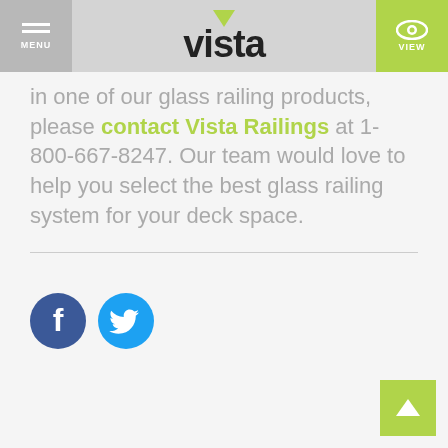MENU | vista | VIEW
in one of our glass railing products, please contact Vista Railings at 1-800-667-8247. Our team would love to help you select the best glass railing system for your deck space.
[Figure (logo): Facebook and Twitter social media icons]
[Figure (other): Back to top button with upward arrow]